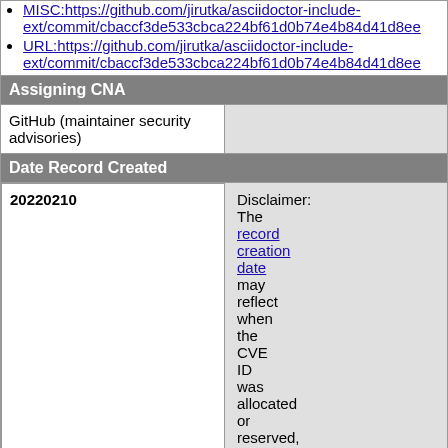MISC:https://github.com/jirutka/asciidoctor-include-ext/commit/cbaccf3de533cbca224bf61d0b74e4b84d41d8ee
URL:https://github.com/jirutka/asciidoctor-include-ext/commit/cbaccf3de533cbca224bf61d0b74e4b84d41d8ee
Assigning CNA
GitHub (maintainer security advisories)
Date Record Created
20220210
Disclaimer: The record creation date may reflect when the CVE ID was allocated or reserved, and does not necessarily indicate when this vulnerability was discovered, shared with the affected vendor, publicly disclosed, or updated in CVE.
Phase (Legacy)
Assigned (20220210)
Votes (Legacy)
Comments (Legacy)